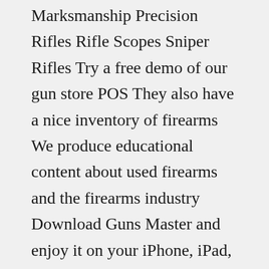Marksmanship Precision Rifles Rifle Scopes Sniper Rifles Try a free demo of our gun store POS They also have a nice inventory of firearms We produce educational content about used firearms and the firearms industry Download Guns Master and enjoy it on your iPhone, iPad, and iPod touch Gun Dealers 4; however, that could change in a while While only applicable for new firearms, buying a gun online is simple Weihrauch HW30 S